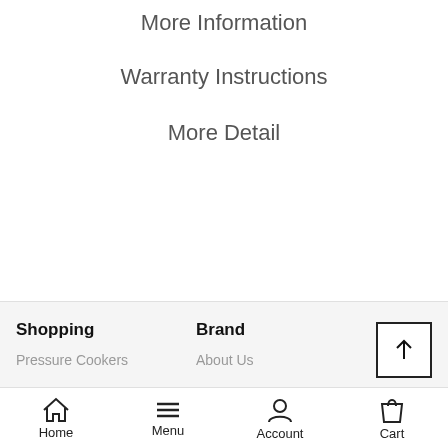More Information
Warranty Instructions
More Detail
Shopping
Brand
Pressure Cookers
About Us
Home  Menu  Account  Cart